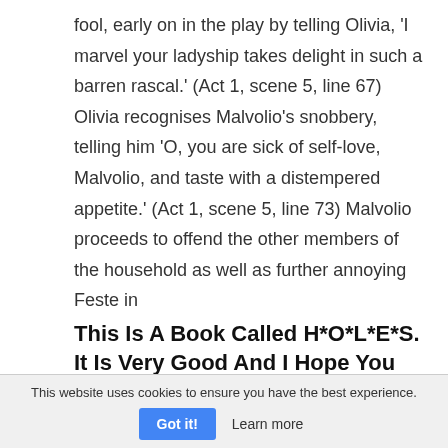fool, early on in the play by telling Olivia, 'I marvel your ladyship takes delight in such a barren rascal.' (Act 1, scene 5, line 67) Olivia recognises Malvolio's snobbery, telling him 'O, you are sick of self-love, Malvolio, and taste with a distempered appetite.' (Act 1, scene 5, line 73) Malvolio proceeds to offend the other members of the household as well as further annoying Feste in
This Is A Book Called H*O*L*E*S. It Is Very Good And I Hope You Enjoy It!
This website uses cookies to ensure you have the best experience. Got it! Learn more